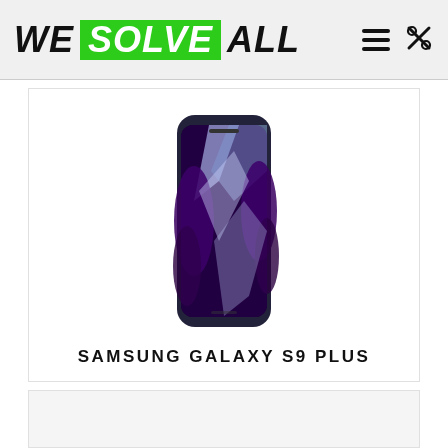WE SOLVE ALL
[Figure (photo): Samsung Galaxy S9 Plus smartphone with curved edge display showing a nature wallpaper with purple and blue tones]
SAMSUNG GALAXY S9 PLUS